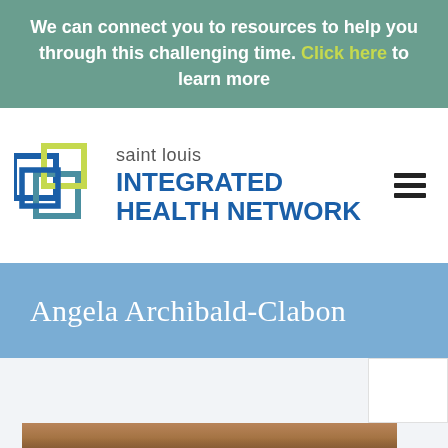We can connect you to resources to help you through this challenging time. Click here to learn more
[Figure (logo): Saint Louis Integrated Health Network logo with overlapping colored squares (blue, teal, green/yellow) and the organization name in blue text]
Angela Archibald-Clabon
[Figure (photo): Bottom portion of a person's head showing hair, partially cropped at the bottom of the page]